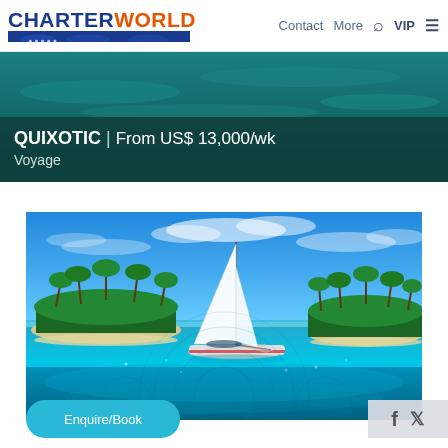CHARTERWORLD | Contact | More | VIP
QUIXOTIC | From US$ 13,000/wk
Voyage
[Figure (photo): A white sailboat/catamaran sailing on vivid turquoise water between two lush tropical islands with palm trees and sandy beaches, under a bright blue sky with wispy clouds.]
Enquire/Book